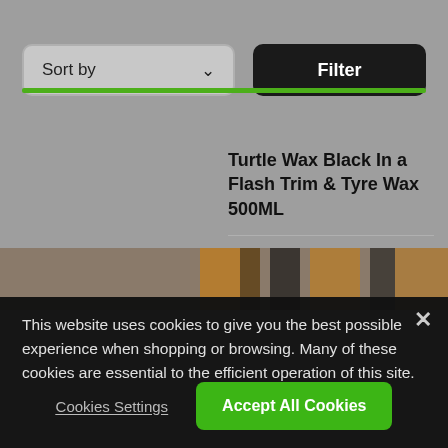[Figure (screenshot): Sort by dropdown button with chevron on left, Filter dark button on right]
Turtle Wax Black In a Flash Trim & Tyre Wax 500ML
★★★★★ (57)
[Figure (photo): Partial image of tiger or product with orange and black stripes]
This website uses cookies to give you the best possible experience when shopping or browsing. Many of these cookies are essential to the efficient operation of this site.
Cookies Settings
Accept All Cookies